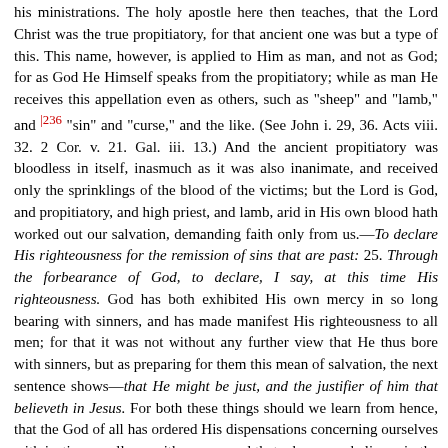his ministrations. The holy apostle here then teaches, that the Lord Christ was the true propitiatory, for that ancient one was but a type of this. This name, however, is applied to Him as man, and not as God; for as God He Himself speaks from the propitiatory; while as man He receives this appellation even as others, such as "sheep" and "lamb," and |236 "sin" and "curse," and the like. (See John i. 29, 36. Acts viii. 32. 2 Cor. v. 21. Gal. iii. 13.) And the ancient propitiatory was bloodless in itself, inasmuch as it was also inanimate, and received only the sprinklings of the blood of the victims; but the Lord is God, and propitiatory, and high priest, and lamb, arid in His own blood hath worked out our salvation, demanding faith only from us.—To declare His righteousness for the remission of sins that are past: 25. Through the forbearance of God, to declare, I say, at this time His righteousness. God has both exhibited His own mercy in so long bearing with sinners, and has made manifest His righteousness to all men; for that it was not without any further view that He thus bore with sinners, but as preparing for them this mean of salvation, the next sentence shows—that He might be just, and the justifier of him that believeth in Jesus. For both these things should we learn from hence, that the God of all has ordered His dispensations concerning ourselves with justice equally as with mercy; and that whosoever believes in the Lord Christ is made partaker of the righteousness which is by faith.
Thus briefly having stated the free gifts conferred by (the covenant of) grace, he returns to his discourse respecting the law, and shows